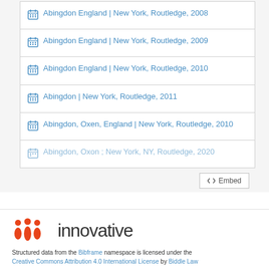Abingdon England | New York, Routledge, 2008
Abingdon England | New York, Routledge, 2009
Abingdon England | New York, Routledge, 2010
Abingdon | New York, Routledge, 2011
Abingdon, Oxen, England | New York, Routledge, 2010
Abingdon, Oxon ; New York, NY, Routledge, 2020
[Figure (logo): Innovative Interfaces logo with three orange person icons and the word 'innovative' in dark sans-serif]
Structured data from the Bibframe namespace is licensed under the Creative Commons Attribution 4.0 International License by Biddle Law